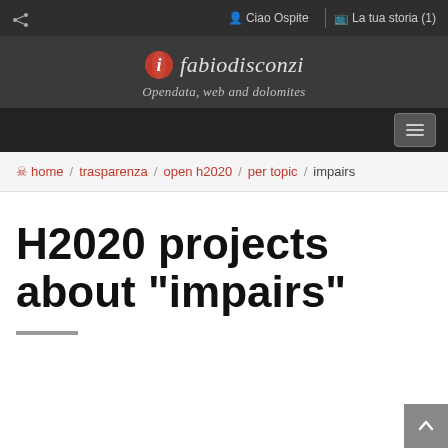share | Ciao Ospite | La tua storia (1)
[Figure (logo): fabiodisconzi logo with red circle icon and italic text, tagline: Opendata, web and dolomites]
Opendata, web and dolomites
home / trasparenza / open h2020 / per topic / impairs
H2020 projects about "impairs"